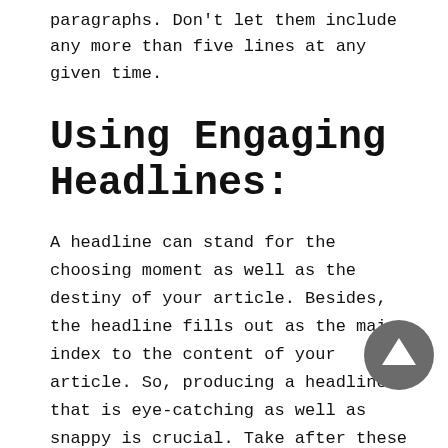paragraphs. Don't let them include any more than five lines at any given time.
Using Engaging Headlines:
A headline can stand for the choosing moment as well as the destiny of your article. Besides, the headline fills out as the main index to the content of your article. So, producing a headline that is eye-catching as well as snappy is crucial. Take after these basic concepts to construct compelling headlines.
Making up Articles
Some context sits at partially difficult...